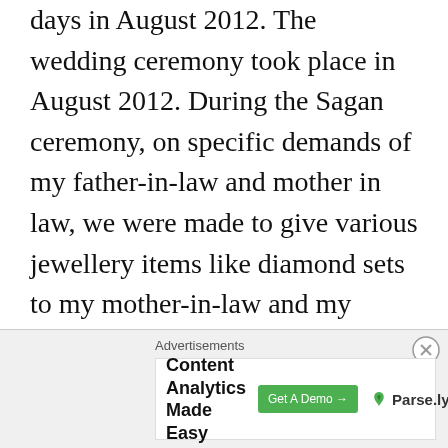days in August 2012. The wedding ceremony took place in August 2012. During the Sagan ceremony, on specific demands of my father-in-law and mother in law, we were made to give various jewellery items like diamond sets to my mother-in-law and my sisters in law , Gold Kadas to Male members of the family, gold coins totalling 241 gms, a gold chain, a Rolex watch and cash to Vijay and various gifts and cash envelopes amounting to Rs. 6.50 lakhs to relatives and friends. As demanded by my
Advertisements
[Figure (other): Advertisement banner for Parse.ly Content Analytics Made Easy with a Get A Demo button]